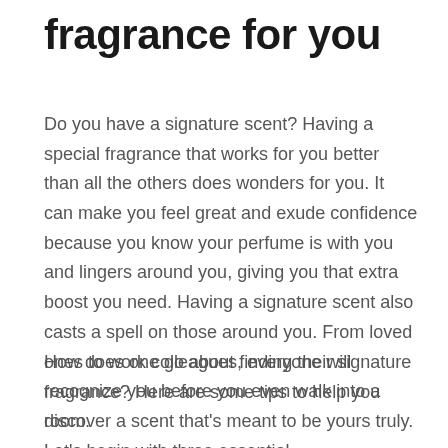fragrance for you
Do you have a signature scent? Having a special fragrance that works for you better than all the others does wonders for you. It can make you feel great and exude confidence because you know your perfume is with you and lingers around you, giving you that extra boost you need. Having a signature scent also casts a spell on those around you. From loved ones to work colleagues, everyone will recognize you before you even walk into a room.
How does one go about finding their signature fragrance? Here are some tips to help you discover a scent that's meant to be yours truly. Let's begin with three essential